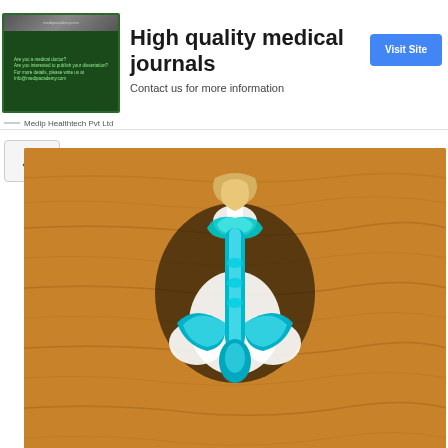[Figure (screenshot): Advertisement banner for Medip Healthtech Pvt Ltd promoting high quality medical journals. Shows a small preview image on the left with green-bordered content, a 'Visit Site' blue button on the right, bold title text 'High quality medical journals' and subtitle 'Contact us for more information'. Below the main content area there is a scroll-up chevron button and a wooden textured image with a teal/cyan ornamental fleur-de-lis style symbol in the center.]